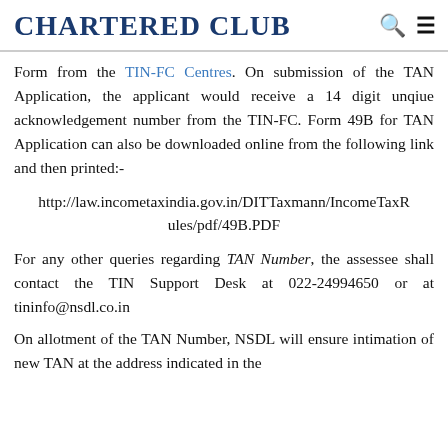Chartered Club
Form from the TIN-FC Centres. On submission of the TAN Application, the applicant would receive a 14 digit unqiue acknowledgement number from the TIN-FC. Form 49B for TAN Application can also be downloaded online from the following link and then printed:-
http://law.incometaxindia.gov.in/DITTaxmann/IncomeTaxRules/pdf/49B.PDF
For any other queries regarding TAN Number, the assessee shall contact the TIN Support Desk at 022-24994650 or at tininfo@nsdl.co.in
On allotment of the TAN Number, NSDL will ensure intimation of new TAN at the address indicated in the